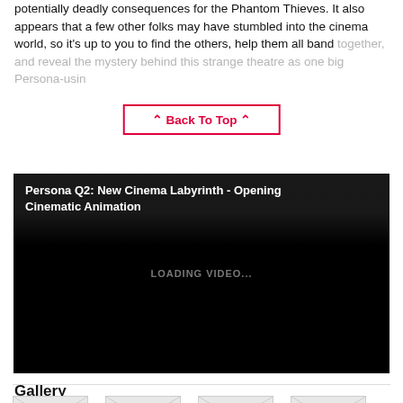potentially deadly consequences for the Phantom Thieves. It also appears that a few other folks may have stumbled into the cinema world, so it's up to you to find the others, help them all band together, and reveal the mystery behind this strange theatre as one big Persona-usin...
Back To Top
[Figure (screenshot): Video player showing 'Persona Q2: New Cinema Labyrinth - Opening Cinematic Animation' with black background and 'LOADING VIDEO...' text]
Gallery
[Figure (photo): Gallery image 1]
[Figure (photo): Gallery image 2]
[Figure (photo): Gallery image 3]
[Figure (photo): Gallery image 4]